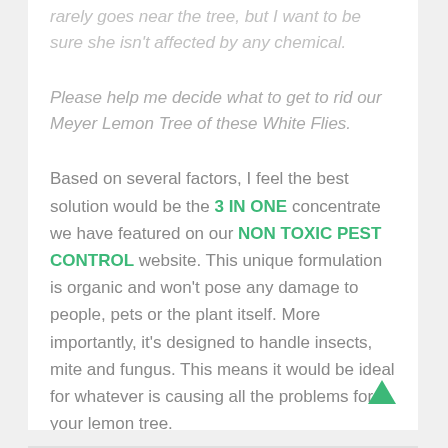rarely goes near the tree, but I want to be sure she isn't affected by any chemical.
Please help me decide what to get to rid our Meyer Lemon Tree of these White Flies.
Based on several factors, I feel the best solution would be the 3 IN ONE concentrate we have featured on our NON TOXIC PEST CONTROL website. This unique formulation is organic and won't pose any damage to people, pets or the plant itself. More importantly, it's designed to handle insects, mite and fungus. This means it would be ideal for whatever is causing all the problems for your lemon tree.